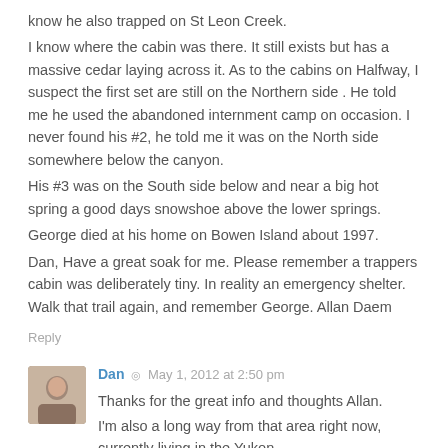know he also trapped on St Leon Creek. I know where the cabin was there. It still exists but has a massive cedar laying across it. As to the cabins on Halfway, I suspect the first set are still on the Northern side . He told me he used the abandoned internment camp on occasion. I never found his #2, he told me it was on the North side somewhere below the canyon. His #3 was on the South side below and near a big hot spring a good days snowshoe above the lower springs. George died at his home on Bowen Island about 1997. Dan, Have a great soak for me. Please remember a trappers cabin was deliberately tiny. In reality an emergency shelter. Walk that trail again, and remember George. Allan Daem
Reply
Dan · May 1, 2012 at 2:50 pm
Thanks for the great info and thoughts Allan. I'm also a long way from that area right now, currently living in the Yukon.